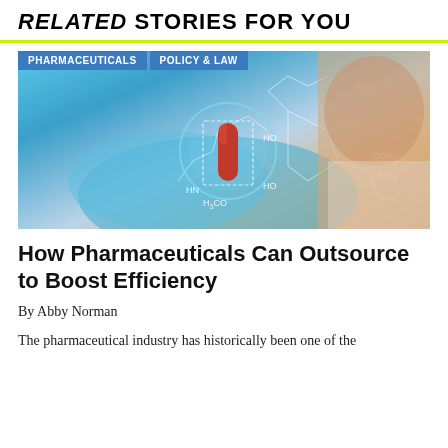RELATED STORIES FOR YOU
[Figure (photo): A gloved hand holding a red capsule pill with chemical molecular structure overlays and a blurred face with safety mask in the background. Tags: PHARMACEUTICALS, POLICY & LAW]
How Pharmaceuticals Can Outsource to Boost Efficiency
By Abby Norman
The pharmaceutical industry has historically been one of the